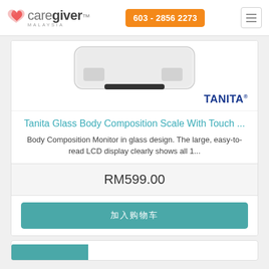caregiver MALAYSIA | 603 - 2856 2273
[Figure (photo): Tanita glass body composition scale product image with TANITA brand logo]
Tanita Glass Body Composition Scale With Touch ...
Body Composition Monitor in glass design. The large, easy-to-read LCD display clearly shows all 1...
RM599.00
加入购物车